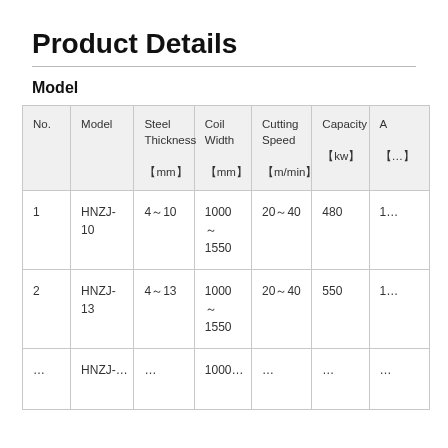Product Details
Model
| No. | Model | Steel Thickness (mm) | Coil Width (mm) | Cutting Speed (m/min) | Capacity (kw) | A (…) |
| --- | --- | --- | --- | --- | --- | --- |
| 1 | HNZJ-10 | 4～10 | 1000～1550 | 20～40 | 480 | 1… |
| 2 | HNZJ-13 | 4～13 | 1000～1550 | 20～40 | 550 | 1… |
| … | HNZJ-… | … | 1000… | … | … | … |